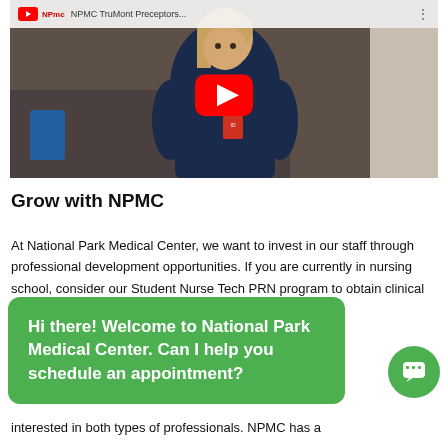[Figure (screenshot): YouTube video thumbnail showing a nurse in dark blue scrubs with an ID badge, with a YouTube play button overlay and video title 'NPMC TruMont Preceptors...' in the top bar.]
Grow with NPMC
At National Park Medical Center, we want to invest in our staff through professional development opportunities. If you are currently in nursing school, consider our Student Nurse Tech PRN program to obtain clinical
Hi there! Welcome to National Park Medical Center. Can I help you schedule an appointment?
interested in both types of professionals. NPMC has a